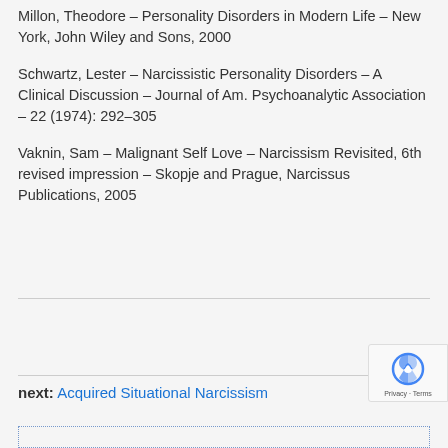Millon, Theodore – Personality Disorders in Modern Life – New York, John Wiley and Sons, 2000
Schwartz, Lester – Narcissistic Personality Disorders – A Clinical Discussion – Journal of Am. Psychoanalytic Association – 22 (1974): 292–305
Vaknin, Sam – Malignant Self Love – Narcissism Revisited, 6th revised impression – Skopje and Prague, Narcissus Publications, 2005
next: Acquired Situational Narcissism